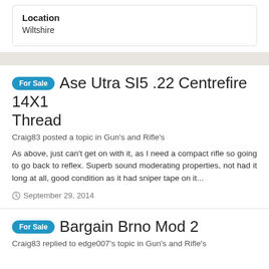Location
Wiltshire
For Sale  Ase Utra SI5 .22 Centrefire 14X1 Thread
Craig83 posted a topic in Gun's and Rifle's
As above, just can't get on with it, as I need a compact rifle so going to go back to reflex. Superb sound moderating properties, not had it long at all, good condition as it had sniper tape on it...
September 29, 2014
For Sale  Bargain Brno Mod 2
Craig83 replied to edge007's topic in Gun's and Rifle's